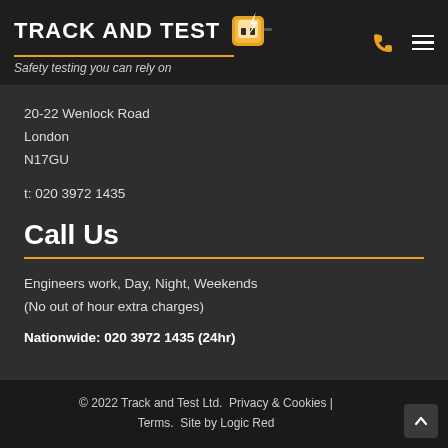TRACK AND TEST
Safety testing you can rely on
20-22 Wenlock Road
London
N17GU
t: 020 3972 1435
Call Us
Engineers work, Day, Night, Weekends
(No out of hour extra charges)
Nationwide: 020 3972 1435 (24hr)
© 2022 Track and Test Ltd.  Privacy & Cookies | Terms.  Site by Logic Red